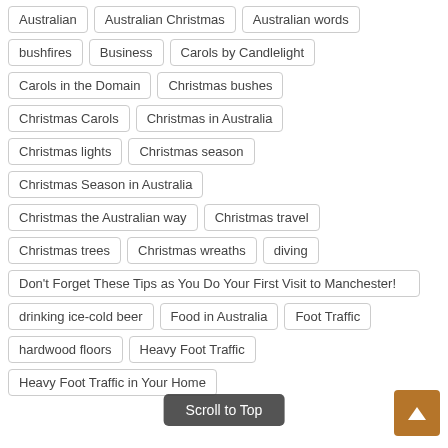Australian
Australian Christmas
Australian words
bushfires
Business
Carols by Candlelight
Carols in the Domain
Christmas bushes
Christmas Carols
Christmas in Australia
Christmas lights
Christmas season
Christmas Season in Australia
Christmas the Australian way
Christmas travel
Christmas trees
Christmas wreaths
diving
Don't Forget These Tips as You Do Your First Visit to Manchester!
drinking ice-cold beer
Food in Australia
Foot Traffic
hardwood floors
Heavy Foot Traffic
Heavy Foot Traffic in Your Home
Scroll to Top